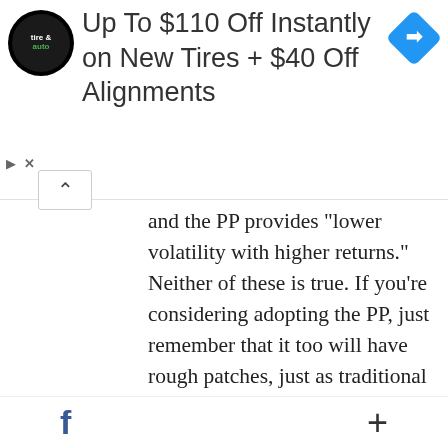[Figure (other): Advertisement banner: tire and auto logo, text 'Up To $110 Off Instantly on New Tires + $40 Off Alignments', blue diamond arrow icon]
and the PP provides 'lower volatility with higher returns.' Neither of these is true. If you're considering adopting the PP, just remember that it too will have rough patches, just as traditional balanced portfolios do. Those rough patches will come when gold is down and stocks are performing well.
Use whatever strategy you're comfortable with, but make sure you understand the risks so you won't get blindsided when
f  +